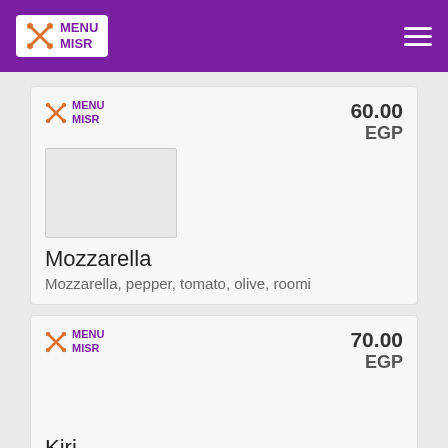MENU MISR
60.00 EGP
Mozzarella
Mozzarella, pepper, tomato, olive, roomi
70.00 EGP
Kiri
Kiri, pepper, tomato, olive, mozzarella
[Figure (photo): Food photo showing a round flatbread/pizza item]
70.00 EGP
Mix Cheese